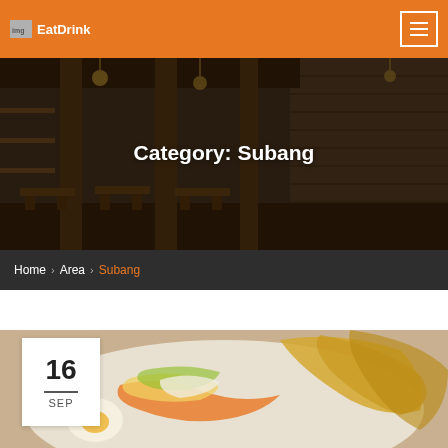EatDrink
[Figure (photo): Interior of a restaurant with brick walls, industrial columns, hanging chandeliers, and rows of wooden tables and chairs in dim lighting]
Category: Subang
Home › Area › Subang
[Figure (photo): Close-up of an Indonesian or Malaysian dish with fried crackers (papadums), shredded vegetables (carrots, cabbage), and what appears to be a boiled egg, served on a white plate]